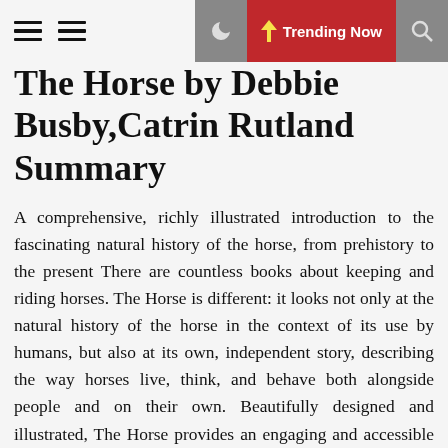≡ ≡  🌙  ⚡ Trending Now  🔍
The Horse by Debbie Busby,Catrin Rutland Summary
A comprehensive, richly illustrated introduction to the fascinating natural history of the horse, from prehistory to the present There are countless books about keeping and riding horses. The Horse is different: it looks not only at the natural history of the horse in the context of its use by humans, but also at its own, independent story, describing the way horses live, think, and behave both alongside people and on their own. Beautifully designed and illustrated, The Horse provides an engaging and accessible introduction to these beloved animals. Beginning with evolution and development, The Horse tells how horses came into being more than fifty million years ago and were first domesticated more than five thousand years ago, eventually spreading across the globe. Chapters on Anatomy & Biology and Society & Behavior explain equine anatomy and how it has affected the lives and social structure of horses, and outline current scientific thinking on their behavior as individual and herd animals, including information on communication between horses. A chapter on Horses & People